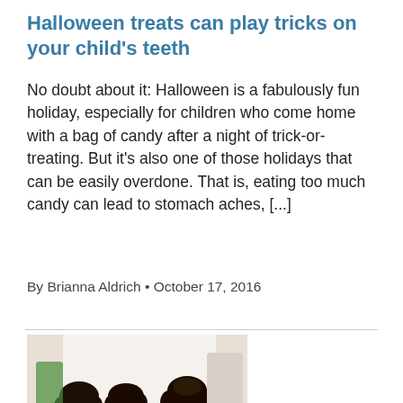Halloween treats can play tricks on your child's teeth
No doubt about it: Halloween is a fabulously fun holiday, especially for children who come home with a bag of candy after a night of trick-or-treating. But it's also one of those holidays that can be easily overdone. That is, eating too much candy can lead to stomach aches, [...]
By Brianna Aldrich • October 17, 2016
[Figure (photo): A woman and two young girls smiling at a table with food and drinks]